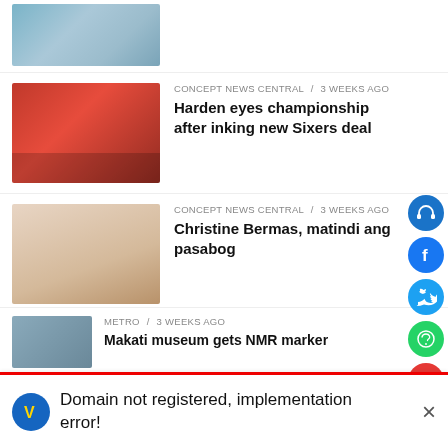[Figure (photo): Partial map/image at top of page]
CONCEPT NEWS CENTRAL / 3 weeks ago
Harden eyes championship after inking new Sixers deal
CONCEPT NEWS CENTRAL / 3 weeks ago
Christine Bermas, matindi ang pasabog
CONCEPT NEWS CENTRAL / 3 weeks ago
Barbie Imperial, maraming natutunan
CONCEPT NEWS CENTRAL / 3 weeks ago
Monkeypox, dapat bang ikabahala?
Domain not registered, implementation error!
METRO / 3 weeks ago
Makati museum gets NMP marker